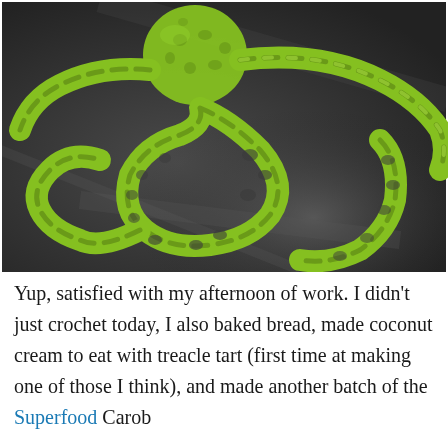[Figure (photo): A lime green crocheted bracelet or strap coiled on a dark slate/stone surface. The crochet work features an open lace pattern with small holes throughout. A crocheted ball or button is visible at the top.]
Yup, satisfied with my afternoon of work. I didn't just crochet today, I also baked bread, made coconut cream to eat with treacle tart (first time at making one of those I think), and made another batch of the Superfood Carob